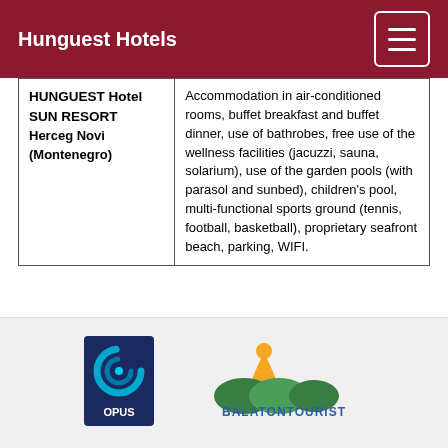Hunguest Hotels
| Hotel | Services |
| --- | --- |
| HUNGUEST Hotel SUN RESORT
Herceg Novi
(Montenegro) | Accommodation in air-conditioned rooms, buffet breakfast and buffet dinner, use of bathrobes, free use of the wellness facilities (jacuzzi, sauna, solarium), use of the garden pools (with parasol and sunbed), children's pool, multi-functional sports ground (tennis, football, basketball), proprietary seafront beach, parking, WIFI. |
[Figure (logo): Opus Global logo – blue circular swirl on dark blue background with OPUS text]
[Figure (logo): Balatontourist logo – orange tent and green hills with BALATONTOURIST text]